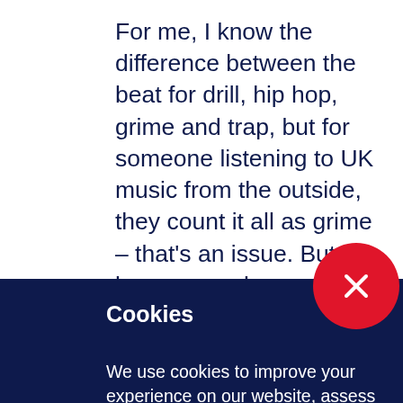For me, I know the difference between the beat for drill, hip hop, grime and trap, but for someone listening to UK music from the outside, they count it all as grime – that's an issue. But as long as you know
Cookies
We use cookies to improve your experience on our website, assess how you use our website and for website security purposes. By continuing to navigate this website, we'll assume you agree to this. Read more about what cookies do and how to adjust your settings here.